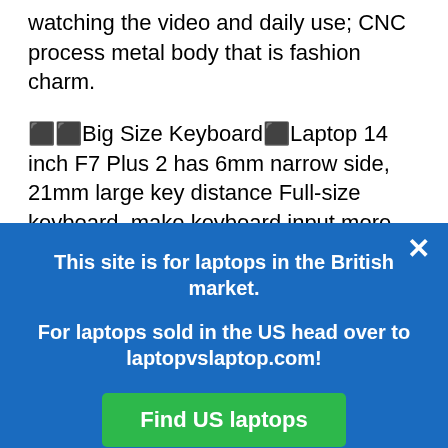watching the video and daily use; CNC process metal body that is fashion charm.
⬛⬛Big Size Keyboard⬛Laptop 14 inch F7 Plus 2 has 6mm narrow side, 21mm large key distance Full-size keyboard, make keyboard input more efficient, 125mm × 78mm large size touchpad, delivers you a smooth touch and operation performance.
⬛⬛Larger Capacity of Storage⬛TECLAST 14 inch laptop with
[Figure (screenshot): Blue overlay popup with close button (×), text 'This site is for laptops in the British market.', 'For laptops sold in the US head over to laptopvslaptop.com!', and a green 'Find US laptops' button.]